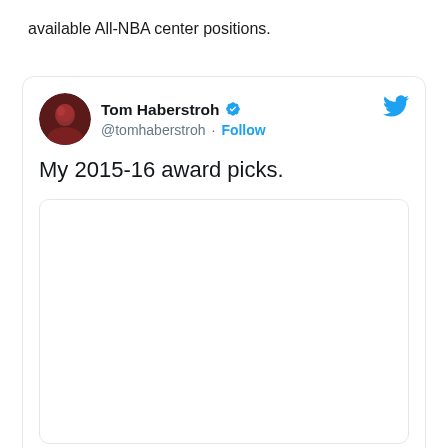available All-NBA center positions.
[Figure (screenshot): Embedded tweet from Tom Haberstroh (@tomhaberstroh) with verified badge and Follow button. Tweet text reads: 'My 2015-16 award picks.' with a nested image card below (content not visible). Twitter bird logo in top right of card.]